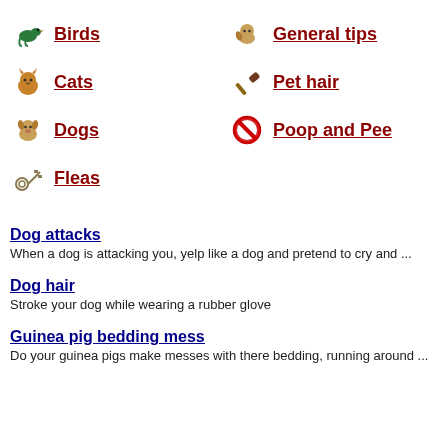Birds
General tips
Cats
Pet hair
Dogs
Poop and Pee
Fleas
Dog attacks
When a dog is attacking you, yelp like a dog and pretend to cry and ...
Dog hair
Stroke your dog while wearing a rubber glove
Guinea pig bedding mess
Do your guinea pigs make messes with there bedding, running around ...